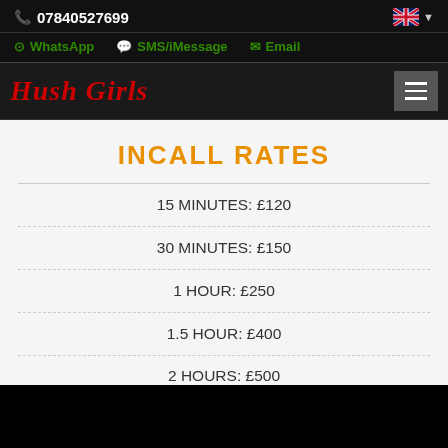07840527699
WhatsApp  SMS/iMessage  Email
Hush Girls
INCALL RATES
15 MINUTES: £120
30 MINUTES: £150
1 HOUR: £250
1.5 HOUR: £400
2 HOURS: £500